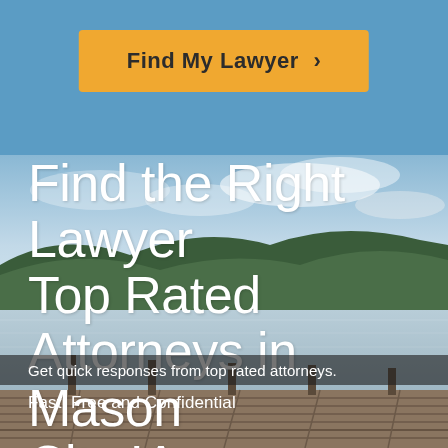[Figure (photo): Scenic lake with forested mountains in the background and a wooden dock in the foreground, under a partly cloudy sky. Light blue sky fades to a calm water reflection.]
Find My Lawyer ›
Find the Right Lawyer Top Rated Attorneys in Mason City IA
Get quick responses from top rated attorneys. Fast, Free and Confidential